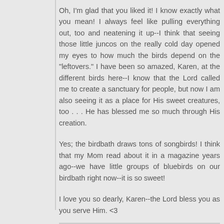Oh, I'm glad that you liked it! I know exactly what you mean! I always feel like pulling everything out, too and neatening it up--I think that seeing those little juncos on the really cold day opened my eyes to how much the birds depend on the "leftovers." I have been so amazed, Karen, at the different birds here--I know that the Lord called me to create a sanctuary for people, but now I am also seeing it as a place for His sweet creatures, too . . . He has blessed me so much through His creation.
Yes; the birdbath draws tons of songbirds! I think that my Mom read about it in a magazine years ago--we have little groups of bluebirds on our birdbath right now--it is so sweet!
I love you so dearly, Karen--the Lord bless you as you serve Him. <3
Reply